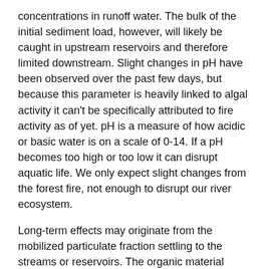concentrations in runoff water. The bulk of the initial sediment load, however, will likely be caught in upstream reservoirs and therefore limited downstream. Slight changes in pH have been observed over the past few days, but because this parameter is heavily linked to algal activity it can't be specifically attributed to fire activity as of yet. pH is a measure of how acidic or basic water is on a scale of 0-14. If a pH becomes too high or too low it can disrupt aquatic life. We only expect slight changes from the forest fire, not enough to disrupt our river ecosystem.
Long-term effects may originate from the mobilized particulate fraction settling to the streams or reservoirs. The organic material (things that contain carbon) and metals that adsorb to the particulates will slowly dissolve, diffusing into the water. These dissolved particles can serve as a energy sources for microorganisms that have the ability to cause taste